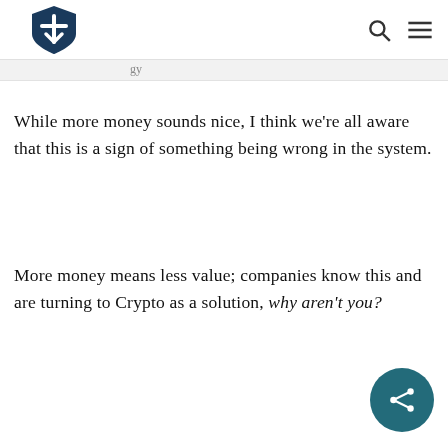[Logo] [Search] [Menu]
While more money sounds nice, I think we're all aware that this is a sign of something being wrong in the system.
More money means less value; companies know this and are turning to Crypto as a solution, why aren't you?